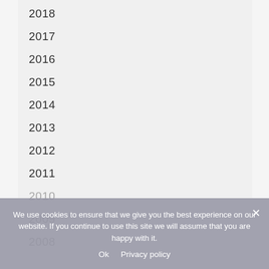2018
2017
2016
2015
2014
2013
2012
2011
2010
2009
2008
We use cookies to ensure that we give you the best experience on our website. If you continue to use this site we will assume that you are happy with it.
Ok   Privacy policy